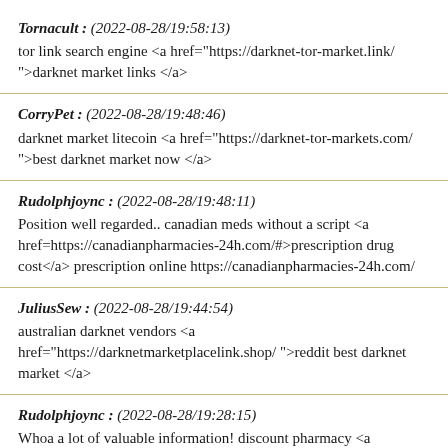Tornacult : (2022-08-28/19:58:13)
tor link search engine <a href="https://darknet-tor-market.link/">darknet market links </a>
CorryPet : (2022-08-28/19:48:46)
darknet market litecoin <a href="https://darknet-tor-markets.com/">best darknet market now </a>
Rudolphjoync : (2022-08-28/19:48:11)
Position well regarded.. canadian meds without a script <a href=https://canadianpharmacies-24h.com/#>prescription drug cost</a> prescription online https://canadianpharmacies-24h.com/
JuliusSew : (2022-08-28/19:44:54)
australian darknet vendors <a href="https://darknetmarketplacelink.shop/ ">reddit best darknet market </a>
Rudolphjoync : (2022-08-28/19:28:15)
Whoa a lot of valuable information! discount pharmacy <a href=https://canadianpharmacies-24h.com/#>online pharmacy viagra</a> discount pharmaceuticals https://canadianpharmacies-24h.com/